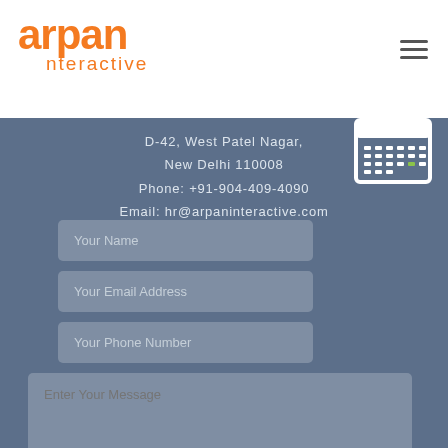[Figure (logo): Arpan Interactive logo in orange text]
[Figure (illustration): Hamburger menu icon (three horizontal lines)]
D-42, West Patel Nagar,
New Delhi 110008
Phone: +91-904-409-4090
Email: hr@arpaninteractive.com
[Figure (illustration): Calendar icon with white outline and small green square on the date grid]
Your Name
Your Email Address
Your Phone Number
Enter Your Message